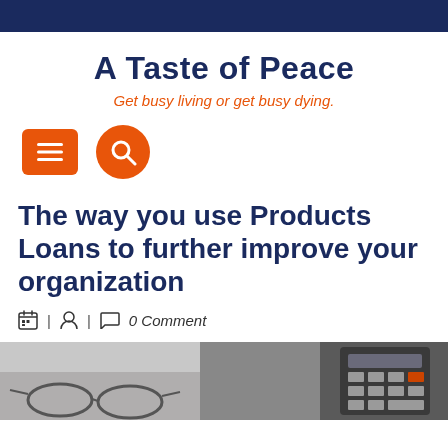A Taste of Peace
Get busy living or get busy dying.
[Figure (other): Orange hamburger menu button (square with three horizontal lines) and orange search button (circle with magnifying glass icon)]
The way you use Products Loans to further improve your organization
0 Comment
[Figure (photo): Partial photo showing glasses and a calculator in the lower portion of the page]